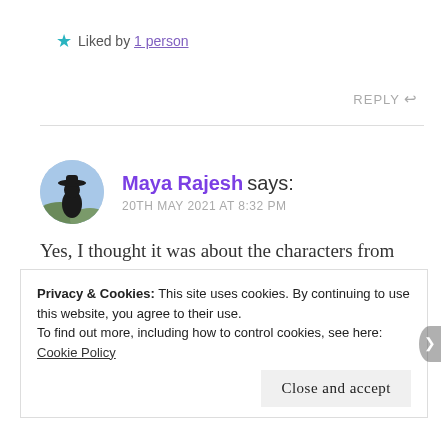★ Liked by 1 person
REPLY ↩
Maya Rajesh says: 20TH MAY 2021 AT 8:32 PM
Yes, I thought it was about the characters from Shadow and Bone, but I was so grateful that I read past the first few chapters. I did love the
Privacy & Cookies: This site uses cookies. By continuing to use this website, you agree to their use. To find out more, including how to control cookies, see here: Cookie Policy
Close and accept